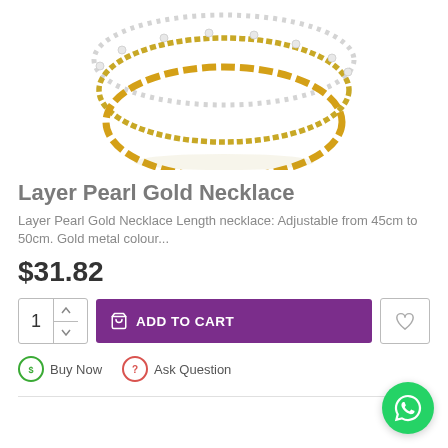[Figure (photo): Photo of a layered pearl gold necklace with three chains — a pearl strand, a thin gold curb chain, and a larger gold paperclip/oval link chain — displayed on a white background.]
Layer Pearl Gold Necklace
Layer Pearl Gold Necklace Length necklace: Adjustable from 45cm to 50cm. Gold metal colour...
$31.82
ADD TO CART
Buy Now
Ask Question